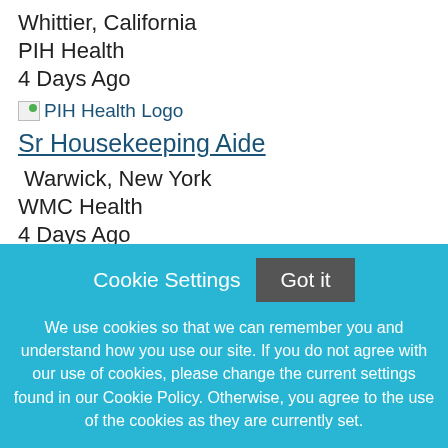Whittier, California
PIH Health
4 Days Ago
[Figure (logo): PIH Health Logo image with link text]
Sr Housekeeping Aide
Warwick, New York
WMC Health
4 Days Ago
[Figure (logo): WMC Health logo showing shield icon and WMCHealth text in dark navy blue]
Cookie Settings   Got it
We use cookies so that we can remember you and understand how you use our site. If you do not agree with our use of cookies, please change the current settings found in our Cookie Policy. Otherwise, you agree to the use of the cookies as they are currently set.